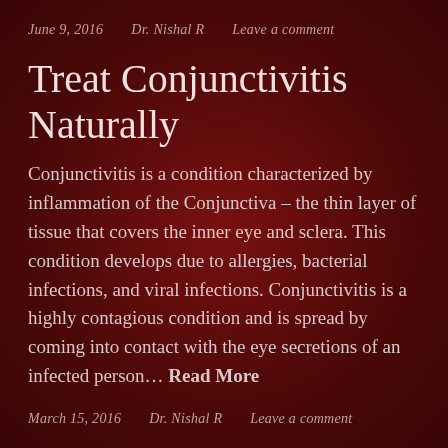June 9, 2016   Dr. Nishal R   Leave a comment
Treat Conjunctivitis Naturally
Conjunctivitis is a condition characterized by inflammation of the Conjunctiva – the thin layer of tissue that covers the inner eye and sclera. This condition develops due to allergies, bacterial infections, and viral infections. Conjunctivitis is a highly contagious condition and is spread by coming into contact with the eye secretions of an infected person… Read More
March 15, 2016   Dr. Nishal R   Leave a comment
Urinary Tract Infections – Natural Treatments